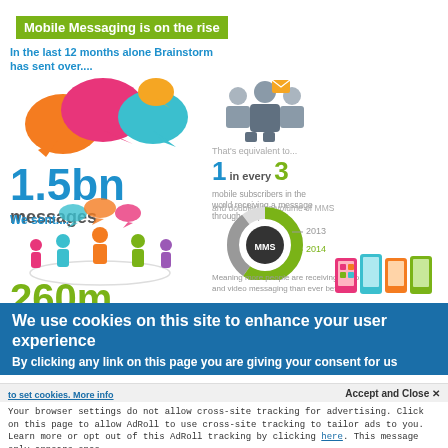Mobile Messaging is on the rise
In the last 12 months alone Brainstorm has sent over....
[Figure (infographic): Colorful speech bubbles illustration]
1.5bn messages
[Figure (infographic): Two person silhouette icons]
That's equivalent to... 1 in every 3 mobile subscribers in the world receiving a message through our platform
We sent....
[Figure (infographic): Group of colorful people around a circle]
260m more SMS
and doubled the volume of MMS
[Figure (donut-chart): MMS donut chart showing 2013 and 2014 comparison]
Meaning more people are receiving audio and video messaging than ever before.
[Figure (infographic): Colorful phone icons]
We use cookies on this site to enhance your user experience
By clicking any link on this page you are giving your consent for us
to set cookies. More info
Accept and Close ✕
Your browser settings do not allow cross-site tracking for advertising. Click on this page to allow AdRoll to use cross-site tracking to tailor ads to you. Learn more or opt out of this AdRoll tracking by clicking here. This message only appears once.